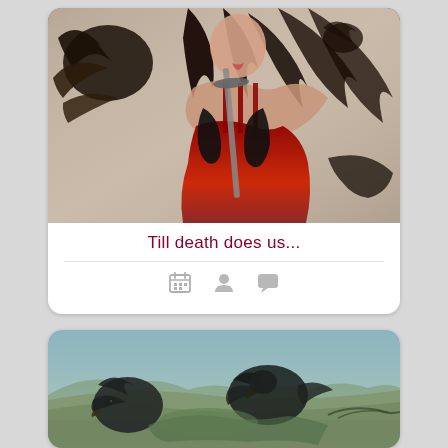[Figure (illustration): Fantasy illustration of a woman in a red dress with long dark hair holding a sword, with dark winged creatures around her]
Till death does us...
[Figure (illustration): Fantasy illustration of dark ravens or crows over a fallen figure in a teal/green toned scene]